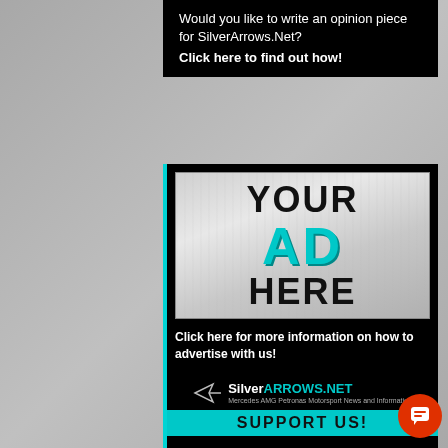Would you like to write an opinion piece for SilverArrows.Net? Click here to find out how!
[Figure (other): Advertisement placeholder image with brushed metal look showing 'YOUR AD HERE' text in black and teal]
Click here for more information on how to advertise with us!
[Figure (logo): SilverArrows.Net logo with arrow icon and tagline 'Mercedes AMG Petronas Motorsport News and Information']
SUPPORT US!